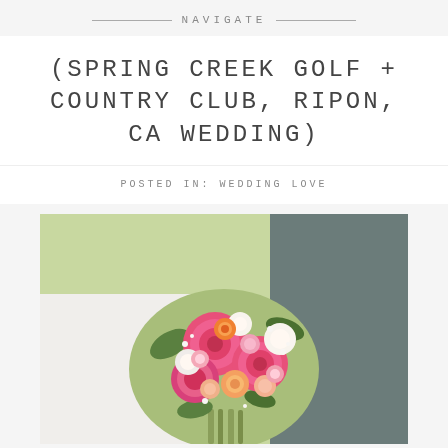NAVIGATE
(SPRING CREEK GOLF + COUNTRY CLUB, RIPON, CA WEDDING)
POSTED IN: WEDDING LOVE
[Figure (photo): Close-up photo of a bride holding a large floral bouquet featuring hot pink peonies, peach ranunculus, white flowers, and greenery. The groom in a grey suit is partially visible behind her.]